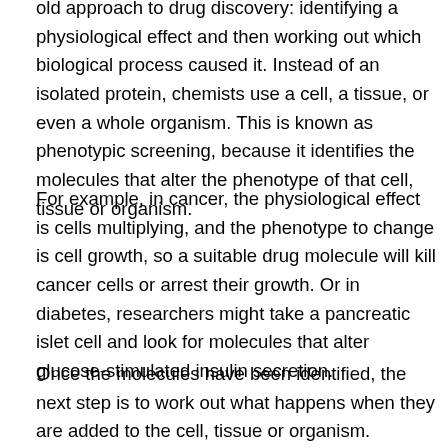old approach to drug discovery: identifying a physiological effect and then working out which biological process caused it. Instead of an isolated protein, chemists use a cell, a tissue, or even a whole organism. This is known as phenotypic screening, because it identifies the molecules that alter the phenotype of that cell, tissue or organism.
For example, in cancer, the physiological effect is cells multiplying, and the phenotype to change is cell growth, so a suitable drug molecule will kill cancer cells or arrest their growth. Or in diabetes, researchers might take a pancreatic islet cell and look for molecules that alter glucose-stimulated insulin secretion.
Once the molecules have been identified, the next step is to work out what happens when they are added to the cell, tissue or organism. Advances in chemical biology now allow us to look inside the cell and see how the molecules bind to proteins within it. Today, multiple molecular processes can be